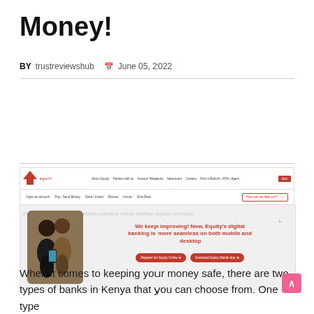Money!
BY trustreviewshub  June 05, 2022
[Figure (screenshot): Screenshot of Equity Bank website showing navigation bar with links (About Equity, Partner with us, Investor Relations, Newsroom, Careers, Find a Branch/ATM/Agent, Eaz), secondary nav (Open an account, Pay/Send Money, Save/Invest, Borrow, Insure, Give Back), search box, and hero banner with two people and text: We keep improving! Now, Equity's digital banking is more seamless on both mobile and desktop, with buttons: Register for Equity Online, Download Equity Mobile App]
When it comes to keeping your money safe, there are two types of banks in Kenya that you can choose from. One type